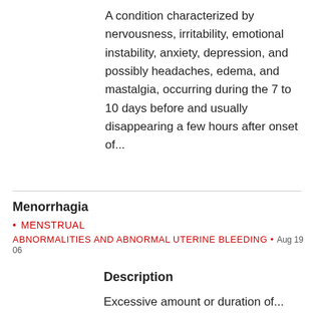A condition characterized by nervousness, irritability, emotional instability, anxiety, depression, and possibly headaches, edema, and mastalgia, occurring during the 7 to 10 days before and usually disappearing a few hours after onset of...
Menorrhagia
• MENSTRUAL
ABNORMALITIES AND ABNORMAL UTERINE BLEEDING • Aug 19 06
Description
Excessive amount or duration of...